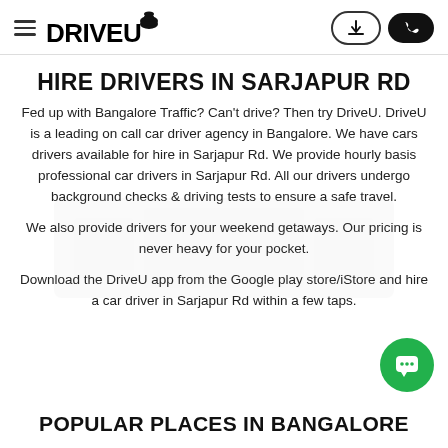DRIVEU — navigation header with hamburger menu, download button, phone button
HIRE DRIVERS IN SARJAPUR RD
Fed up with Bangalore Traffic? Can't drive? Then try DriveU. DriveU is a leading on call car driver agency in Bangalore. We have cars drivers available for hire in Sarjapur Rd. We provide hourly basis professional car drivers in Sarjapur Rd. All our drivers undergo background checks & driving tests to ensure a safe travel.
We also provide drivers for your weekend getaways. Our pricing is never heavy for your pocket.
Download the DriveU app from the Google play store/iStore and hire a car driver in Sarjapur Rd within a few taps.
POPULAR PLACES IN BANGALORE